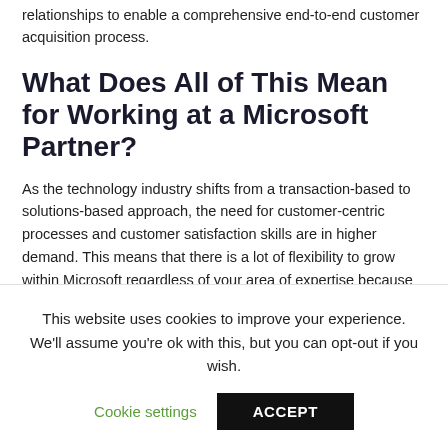relationships to enable a comprehensive end-to-end customer acquisition process.
What Does All of This Mean for Working at a Microsoft Partner?
As the technology industry shifts from a transaction-based to solutions-based approach, the need for customer-centric processes and customer satisfaction skills are in higher demand. This means that there is a lot of flexibility to grow within Microsoft regardless of your area of expertise because the Microsoft Technology sector is driving more collaboration and creativity.
This website uses cookies to improve your experience. We'll assume you're ok with this, but you can opt-out if you wish.
Cookie settings   ACCEPT